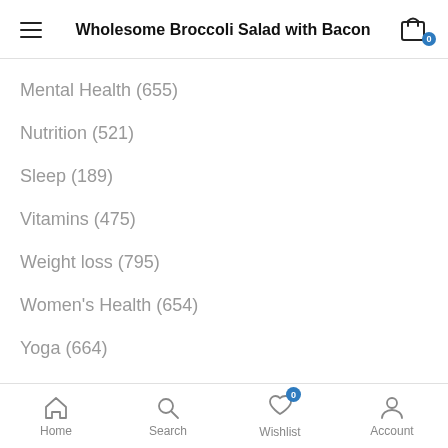Wholesome Broccoli Salad with Bacon
Mental Health (655)
Nutrition (521)
Sleep (189)
Vitamins (475)
Weight loss (795)
Women's Health (654)
Yoga (664)
POPULAR POSTS
January 20, 2022
Home  Search  Wishlist  Account